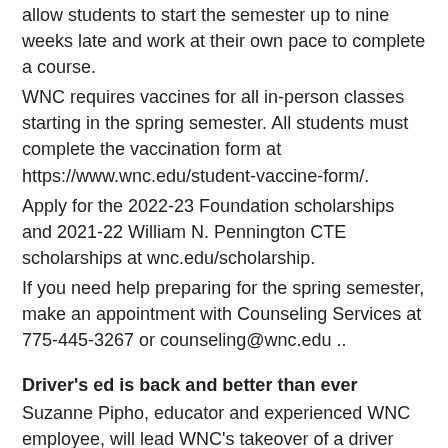allow students to start the semester up to nine weeks late and work at their own pace to complete a course.
WNC requires vaccines for all in-person classes starting in the spring semester. All students must complete the vaccination form at https://www.wnc.edu/student-vaccine-form/.
Apply for the 2022-23 Foundation scholarships and 2021-22 William N. Pennington CTE scholarships at wnc.edu/scholarship.
If you need help preparing for the spring semester, make an appointment with Counseling Services at 775-445-3267 or counseling@wnc.edu ..
Driver's ed is back and better than ever
Suzanne Pipho, educator and experienced WNC employee, will lead WNC's takeover of a driver education course through its continuing education program.
“I have two teenagers,” said Suzanne. “I find that if I ask them about an important topic, rather than lecture them with the information, they are more engaged and they also realize that they don’t have all the